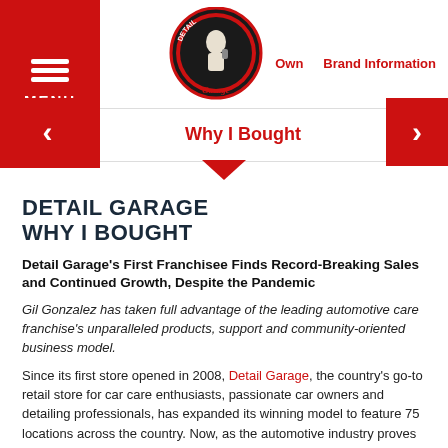[Figure (logo): Detail Garage circular logo with man holding a spray bottle, decorative script text reading 'Garage']
MENU | Own | Brand Information
Why I Bought
DETAIL GARAGE WHY I BOUGHT
Detail Garage’s First Franchisee Finds Record-Breaking Sales and Continued Growth, Despite the Pandemic
Gil Gonzalez has taken full advantage of the leading automotive care franchise’s unparalleled products, support and community-oriented business model.
Since its first store opened in 2008, Detail Garage, the country’s go-to retail store for car care enthusiasts, passionate car owners and detailing professionals, has expanded its winning model to feature 75 locations across the country. Now, as the automotive industry proves uniquely resilient against the COVID-19 pandemic